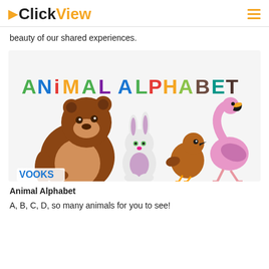ClickView
beauty of our shared experiences.
[Figure (illustration): Animal Alphabet book cover illustration showing colorful text 'ANIMAL ALPHABET' and cartoon animals: a brown bear, white rabbit, brown bird, and pink flamingo. VOOKS branding in bottom left.]
Animal Alphabet
A, B, C, D, so many animals for you to see!